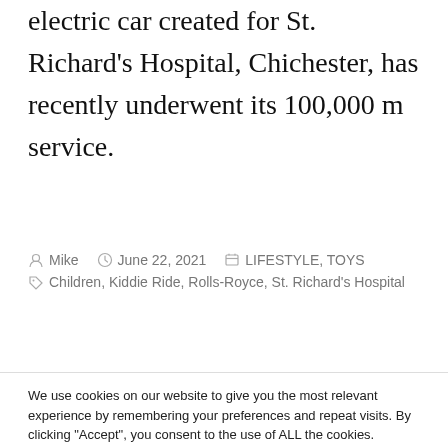electric car created for St. Richard's Hospital, Chichester, has recently underwent its 100,000 m service.
By Mike  June 22, 2021  LIFESTYLE, TOYS  Children, Kiddie Ride, Rolls-Royce, St. Richard's Hospital
We use cookies on our website to give you the most relevant experience by remembering your preferences and repeat visits. By clicking “Accept”, you consent to the use of ALL the cookies.
Do not sell my personal information.
Cookie Settings  Accept